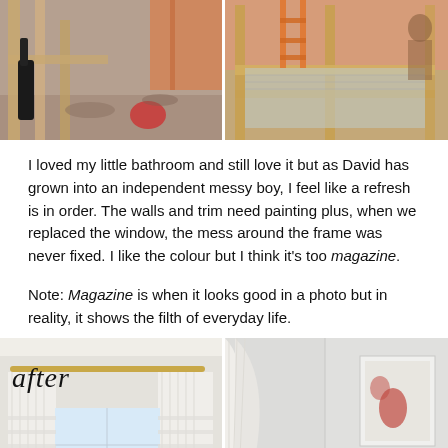[Figure (photo): Two side-by-side construction/renovation photos showing bathroom framing with studs exposed, construction debris on floor and a tub frame being built]
I loved my little bathroom and still love it but as David has grown into an independent messy boy, I feel like a refresh is in order. The walls and trim need painting plus, when we replaced the window, the mess around the frame was never fixed. I like the colour but I think it's too magazine.
Note: Magazine is when it looks good in a photo but in reality, it shows the filth of everyday life.
[Figure (photo): Two side-by-side after photos of a renovated bathroom showing white curtains on a rod over a window and a corner of the room with a framed picture on the wall. The left photo has 'after' written in cursive.]